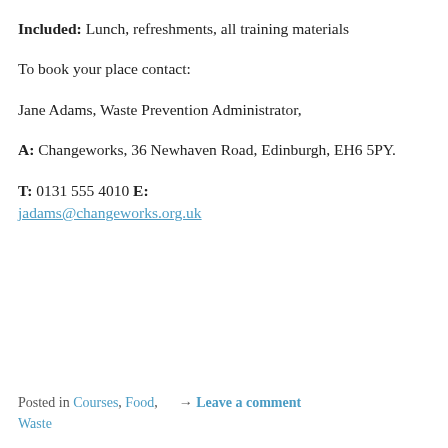Included: Lunch, refreshments, all training materials
To book your place contact:
Jane Adams, Waste Prevention Administrator,
A: Changeworks, 36 Newhaven Road, Edinburgh, EH6 5PY.
T: 0131 555 4010 E: jadams@changeworks.org.uk
Posted in Courses, Food, Waste → Leave a comment